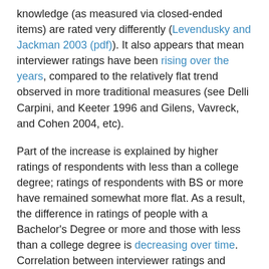knowledge (as measured via closed-ended items) are rated very differently (Levendusky and Jackman 2003 (pdf)). It also appears that mean interviewer ratings have been rising over the years, compared to the relatively flat trend observed in more traditional measures (see Delli Carpini, and Keeter 1996 and Gilens, Vavreck, and Cohen 2004, etc).
Part of the increase is explained by higher ratings of respondents with less than a college degree; ratings of respondents with BS or more have remained somewhat more flat. As a result, the difference in ratings of people with a Bachelor's Degree or more and those with less than a college degree is decreasing over time. Correlation between interviewer ratings and other criteria like political interest are also trending downward (though the decline is less sharp). This conflicts with evidence for increasing 'knowledge gap' (Prior 2005).
The other notable trend is the sharp negative correlation (over .85) between intercept and slope of within-year regressions of